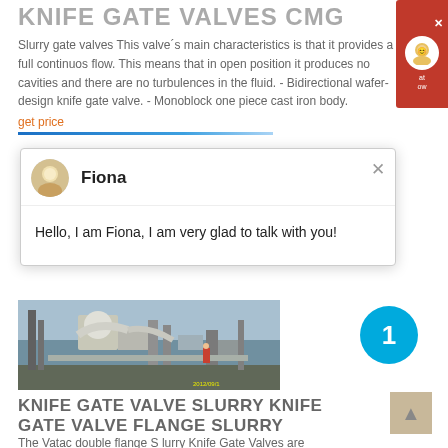KNIFE GATE VALVES CMG
Slurry gate valves This valve´s main characteristics is that it provides a full continuos flow. This means that in open position it produces no cavities and there are no turbulences in the fluid. - Bidirectional wafer-design knife gate valve. - Monoblock one piece cast iron body.
get price
[Figure (screenshot): Chat popup with avatar of Fiona, showing message: Hello, I am Fiona, I am very glad to talk with you!]
[Figure (photo): Industrial installation photo showing large pipes and machinery, timestamped 2012/09/1x]
KNIFE GATE VALVE SLURRY KNIFE GATE VALVE FLANGE SLURRY
The Vatac double flange S lurry Knife Gate Valves are